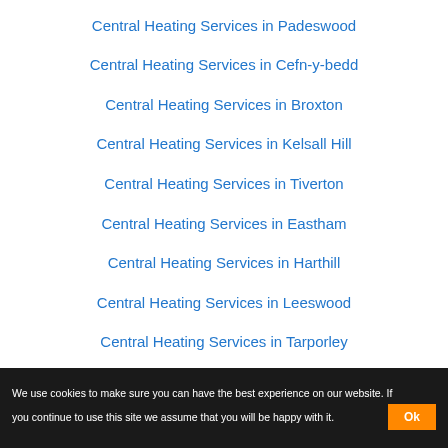Central Heating Services in Padeswood
Central Heating Services in Cefn-y-bedd
Central Heating Services in Broxton
Central Heating Services in Kelsall Hill
Central Heating Services in Tiverton
Central Heating Services in Eastham
Central Heating Services in Harthill
Central Heating Services in Leeswood
Central Heating Services in Tarporley
We use cookies to make sure you can have the best experience on our website. If you continue to use this site we assume that you will be happy with it.